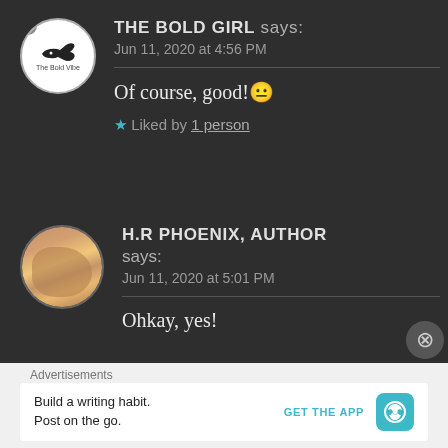[Figure (illustration): Avatar of The Bold Vibe - circular white logo with bird/helicopter silhouette]
THE BOLD GIRL says:
Jun 11, 2020 at 4:56 PM
Of course, good! 🙂
★ Liked by 1 person
[Figure (photo): Circular avatar photo showing a hand/animal, for H.R Phoenix, Author]
H.R PHOENIX, AUTHOR says:
Jun 11, 2020 at 5:01 PM
Ohkay, yes!
Advertisements
Build a writing habit. Post on the go.
GET THE APP